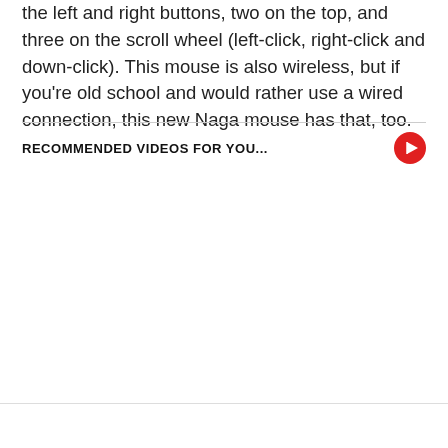the left and right buttons, two on the top, and three on the scroll wheel (left-click, right-click and down-click). This mouse is also wireless, but if you're old school and would rather use a wired connection, this new Naga mouse has that, too.
RECOMMENDED VIDEOS FOR YOU...